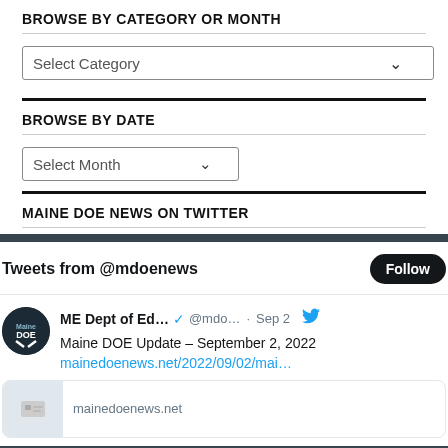BROWSE BY CATEGORY OR MONTH
Select Category (dropdown)
BROWSE BY DATE
Select Month (dropdown)
MAINE DOE NEWS ON TWITTER
Tweets from @mdoenews | Follow
ME Dept of Ed... @mdo... · Sep 2 — Maine DOE Update – September 2, 2022 — mainedoenews.net/2022/09/02/mai… — mainedoenews.net